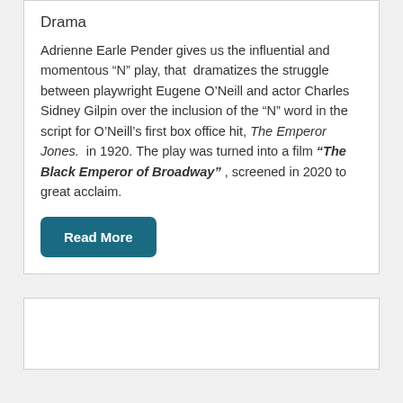Drama
Adrienne Earle Pender gives us the influential and momentous “N” play, that  dramatizes the struggle between playwright Eugene O’Neill and actor Charles Sidney Gilpin over the inclusion of the “N” word in the script for O’Neill’s first box office hit, The Emperor Jones.  in 1920. The play was turned into a film “The Black Emperor of Broadway” , screened in 2020 to great acclaim.
Read More